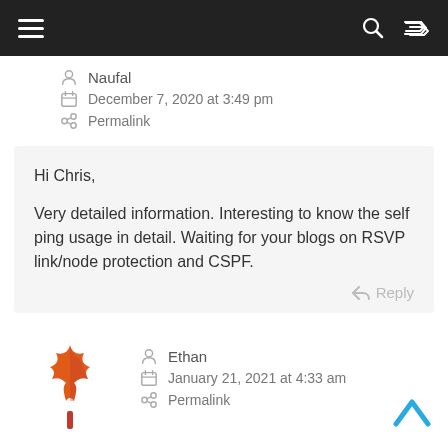Navigation bar with hamburger menu, search and shuffle icons
Naufal
December 7, 2020 at 3:49 pm
Permalink
Hi Chris,

Very detailed information. Interesting to know the self ping usage in detail. Waiting for your blogs on RSVP link/node protection and CSPF.
Reply
[Figure (illustration): Orange/red maple leaf avatar icon]
Ethan
January 21, 2021 at 4:33 am
Permalink